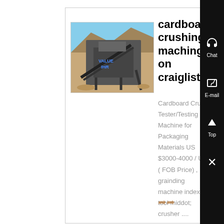[Figure (photo): Photograph of a large industrial stone/rock crushing machine at a quarry site with blue sky and rocky hillside in background. Blue text overlay visible on the image.]
cardboard crushing machine on craiglist
Cardboard Crush Tester/Testing Machine for Packaging Materials US $3000-4000 / Uni ( FOB Price) , grainding machine indexing tool middot; crusher ....